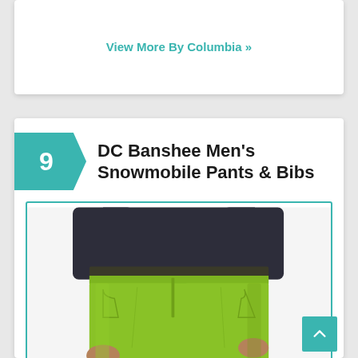View More By Columbia »
DC Banshee Men's Snowmobile Pants & Bibs
[Figure (photo): Man wearing bright lime/yellow-green DC Banshee snowmobile pants with dark navy long-sleeve top, hands at sides, product photo cropped at waist and thighs]